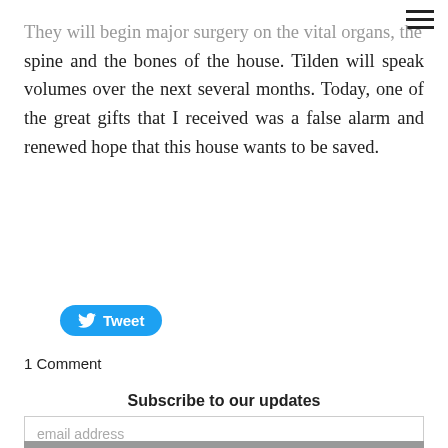They will begin major surgery on the vital organs, the spine and the bones of the house. Tilden will speak volumes over the next several months. Today, one of the great gifts that I received was a false alarm and renewed hope that this house wants to be saved.
[Figure (other): Twitter Tweet button (blue rounded rectangle with bird icon and text 'Tweet')]
1 Comment
Subscribe to our updates
email address
Subscribe
Preservation Blog